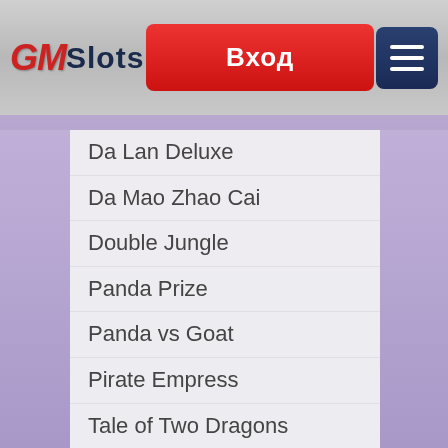GMSlots | Вход
Da Lan Deluxe
Da Mao Zhao Cai
Double Jungle
Panda Prize
Panda vs Goat
Pirate Empress
Tale of Two Dragons
Wild Wu Shi
Xing Yun Jin Chan
Xuan Wu